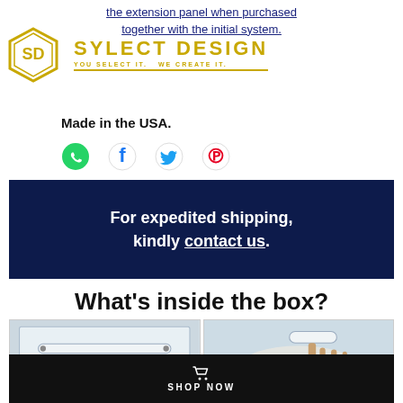the extension panel when purchased together with the initial system.
[Figure (logo): Sylect Design hexagonal logo with SD initials in gold, and brand name SYLECT DESIGN in gold letters with tagline YOU SELECT IT. WE CREATE IT.]
Made in the USA.
[Figure (infographic): Social share icons row: WhatsApp (green), Facebook (blue), Twitter (blue bird), Pinterest (red/pink)]
For expedited shipping, kindly contact us.
What's inside the box?
[Figure (photo): Two product photos side by side showing white cabinet handles/pulls in packaging and being unpacked from a box with foam packing material]
SHOP NOW